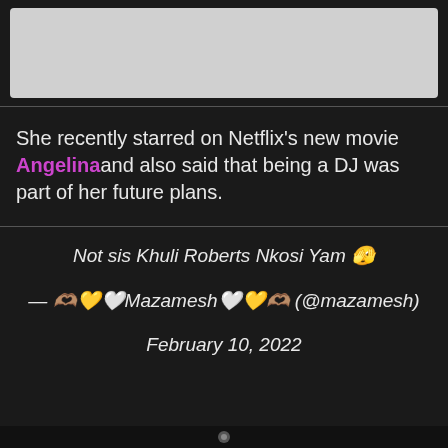[Figure (photo): Light gray image placeholder at top of page]
She recently starred on Netflix's new movie Angelinaand also said that being a DJ was part of her future plans.
Not sis Khuli Roberts Nkosi Yam 🫣
— 🫶🏽💛🤍Mazamesh🤍💛🫶🏽 (@mazamesh) February 10, 2022